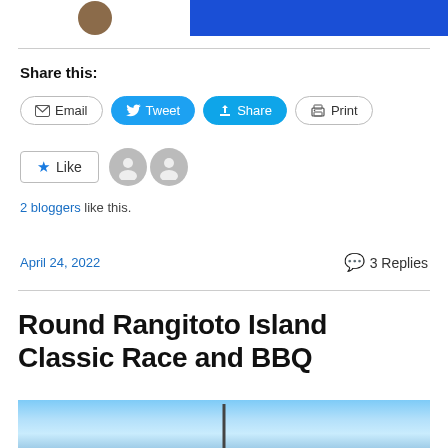[Figure (screenshot): Top banner with partial avatar circle on left and blue rectangle on right]
Share this:
[Figure (screenshot): Social share buttons: Email, Tweet, Share, Print]
[Figure (screenshot): Like button with 2 gray user avatars]
2 bloggers like this.
April 24, 2022    3 Replies
Round Rangitoto Island Classic Race and BBQ
[Figure (photo): Partial photo showing blue sky and a mast silhouette at the bottom of the page]